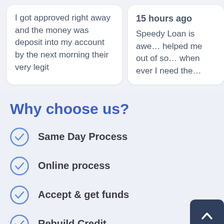I got approved right away and the money was deposit into my account by the next morning their very legit
15 hours ago
Speedy Loan is awe... helped me out of so... when ever I need the...
Why choose us?
Same Day Process
Online process
Accept & get funds
Rebuild Credit
Apply Now
Applying does NOT affect your credit score!
No credit check to apply.